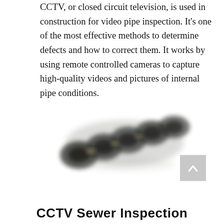CCTV, or closed circuit television, is used in construction for video pipe inspection. It's one of the most effective methods to determine defects and how to correct them. It works by using remote controlled cameras to capture high-quality videos and pictures of internal pipe conditions.
[Figure (photo): A blurred/defocused photograph of CCTV pipe inspection camera equipment, showing multiple dark rounded camera units arranged diagonally against a white background.]
CCTV Sewer Inspection